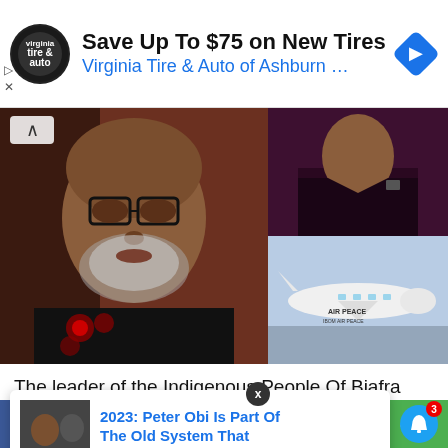[Figure (screenshot): Advertisement banner: Virginia Tire & Auto logo, text 'Save Up To $75 on New Tires', 'Virginia Tire & Auto of Ashburn …', blue diamond navigation icon]
[Figure (photo): Photo collage: close-up of Mazi Nnamdi Kanu wearing glasses and traditional attire on left; man in dark suit upper right; Air Peace airplane lower right]
The leader of the Indigenous People Of Biafra (IPOB), Mazi Nnamdi Kanu has accused the embattled of lying against
[Figure (screenshot): Notification popup: '2023: Peter Obi Is Part Of The Old System That' with thumbnail image and '14 minutes ago']
Facebook  Twitter  WhatsApp  Messenger  (green share icon)